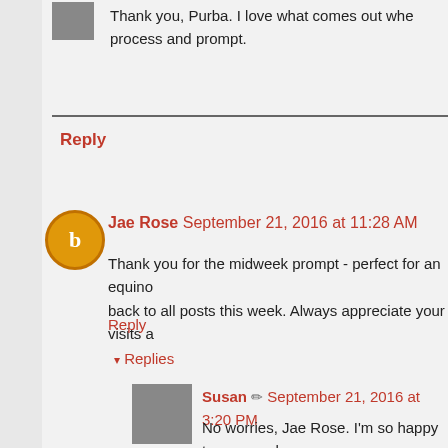Thank you, Purba. I love what comes out whe process and prompt.
Reply
Jae Rose September 21, 2016 at 11:28 AM
Thank you for the midweek prompt - perfect for an equino back to all posts this week. Always appreciate your visits a
Reply
▾ Replies
Susan September 21, 2016 at 3:20 PM
No worries, Jae Rose. I'm so happy to see you here
Jae Rose September 21, 2016 at 3:30 PM
Thank you Susan